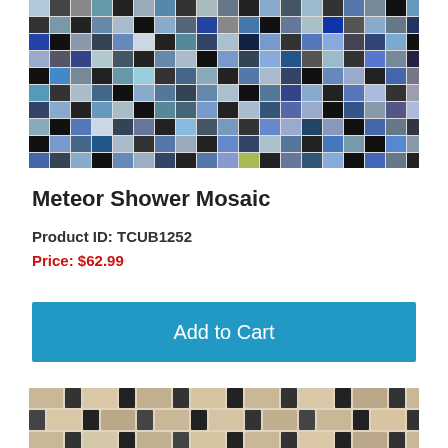[Figure (photo): Top mosaic tile pattern image showing small square tiles in blues, blacks, grays, and whites arranged in a grid pattern]
Meteor Shower Mosaic
Product ID: TCUB1252
Price: $62.99
Add to Cart
[Figure (photo): Bottom mosaic tile pattern image showing rectangular brick-pattern tiles in beige, tan, cream, and dark brown/black accent squares]